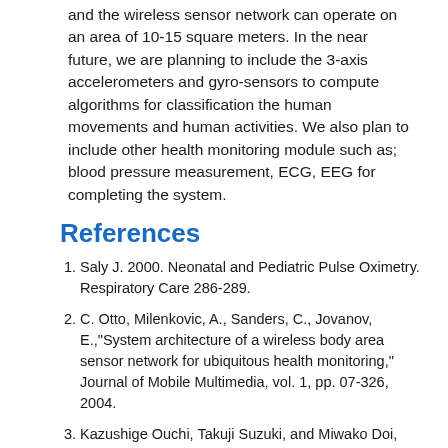and the wireless sensor network can operate on an area of 10-15 square meters. In the near future, we are planning to include the 3-axis accelerometers and gyro-sensors to compute algorithms for classification the human movements and human activities. We also plan to include other health monitoring module such as; blood pressure measurement, ECG, EEG for completing the system.
References
Saly J. 2000. Neonatal and Pediatric Pulse Oximetry. Respiratory Care 286-289.
C. Otto, Milenkovic, A., Sanders, C., Jovanov, E.,"System architecture of a wireless body area sensor network for ubiquitous health monitoring," Journal of Mobile Multimedia, vol. 1, pp. 07-326, 2004.
Kazushige Ouchi, Takuji Suzuki, and Miwako Doi, "Lifeminder: A wearable healthcare support system with timely instruction based on the user's context - Advanced Motion Control," 8th IEEE International Workshop on AMC, 2004.